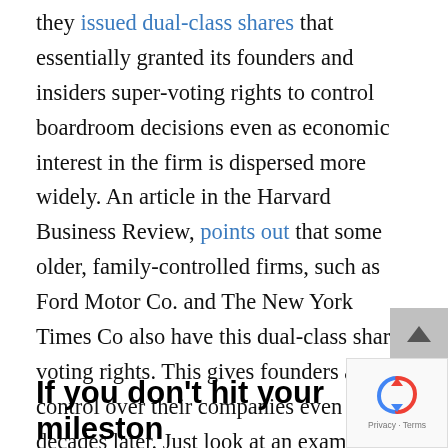they issued dual-class shares that essentially granted its founders and insiders super-voting rights to control boardroom decisions even as economic interest in the firm is dispersed more widely. An article in the Harvard Business Review, points out that some older, family-controlled firms, such as Ford Motor Co. and The New York Times Co also have this dual-class shares voting rights. This gives founders a lot of control over their companies even decades later. Just look at an example of the power that Mark Zuckerberg has.
If you don't hit your milestones